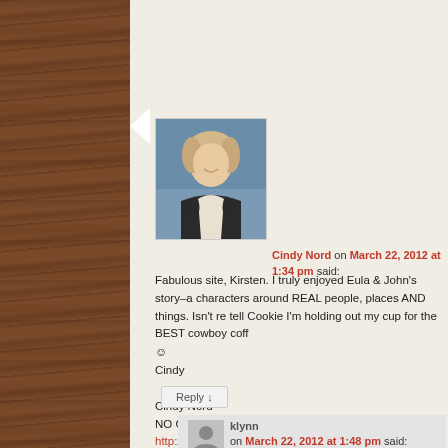[Figure (photo): Profile photo of Cindy Nord, a blond woman in dark jacket]
Cindy Nord on March 22, 2012 at 1:34 pm said:
Fabulous site, Kirsten. I truly enjoyed Eula & John's story–a characters around REAL people, places AND things. Isn't re tell Cookie I'm holding out my cup for the BEST cowboy coff ☺ Cindy

Cindy Nord
NO GREATER GLORY/Samhain Publishing
http://www.cindynord.com
Always Romance. Nothing Less.
Reply ↓
klynn on March 22, 2012 at 1:48 pm said: